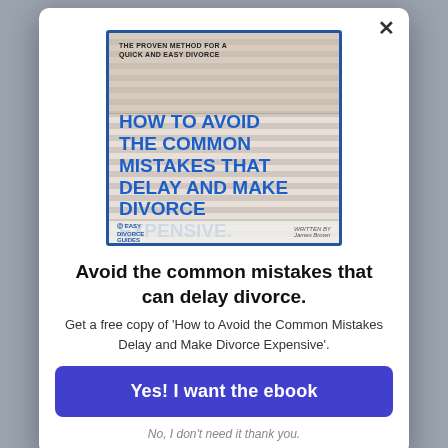[Figure (illustration): Book cover showing 'How to Avoid the Common Mistakes That Delay and Make Divorce Expensive.' with striped background resembling clasped hands, blue title text, and footer with logo and author name. Top reads 'THE PROVEN METHOD FOR A QUICK AND EASY DIVORCE']
Avoid the common mistakes that can delay divorce.
Get a free copy of 'How to Avoid the Common Mistakes Delay and Make Divorce Expensive'.
Yes! I want the ebook
No, I don't need it thank you.